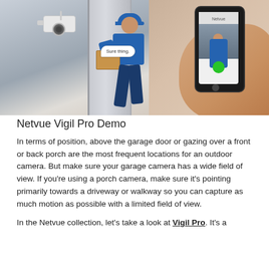[Figure (photo): A delivery person in blue uniform carrying a package near a door, with a security camera mounted above. A hand holds a smartphone showing the camera app feed. Chat bubbles show: 'Sure thing.' from the delivery person side and 'Hi, leave it at the door, thanks!' from the phone side.]
Netvue Vigil Pro Demo
In terms of position, above the garage door or gazing over a front or back porch are the most frequent locations for an outdoor camera. But make sure your garage camera has a wide field of view. If you're using a porch camera, make sure it's pointing primarily towards a driveway or walkway so you can capture as much motion as possible with a limited field of view.
In the Netvue collection, let's take a look at Vigil Pro. It's a